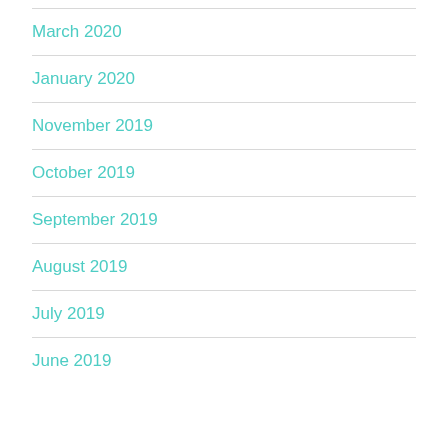March 2020
January 2020
November 2019
October 2019
September 2019
August 2019
July 2019
June 2019